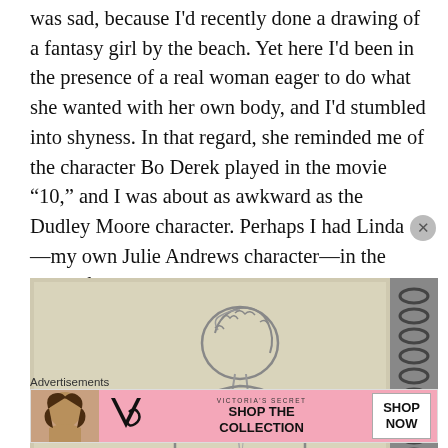was sad, because I'd recently done a drawing of a fantasy girl by the beach. Yet here I'd been in the presence of a real woman eager to do what she wanted with her own body, and I'd stumbled into shyness. In that regard, she reminded me of the character Bo Derek played in the movie “10,” and I was about as awkward as the Dudley Moore character. Perhaps I had Linda —my own Julie Andrews character—in the back of my mind as well.
[Figure (illustration): A pencil sketch of a figure (seen from behind/side) in a spiral-bound sketchbook. The drawing shows a person with curly/wavy hair, depicted from the back and shoulders. The sketchbook has visible spiral binding on the right side.]
Advertisements
[Figure (other): Victoria's Secret advertisement banner. Pink background with a model on the left, the Victoria's Secret logo (VS), brand name, and text reading 'SHOP THE COLLECTION' with a 'SHOP NOW' button on the right.]